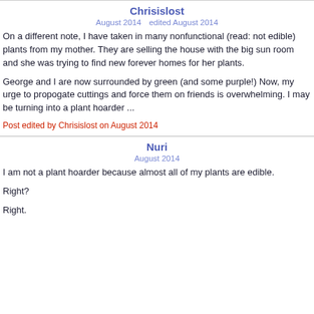Chrisislost
August 2014    edited August 2014
On a different note, I have taken in many nonfunctional (read: not edible) plants from my mother. They are selling the house with the big sun room and she was trying to find new forever homes for her plants.
George and I are now surrounded by green (and some purple!) Now, my urge to propogate cuttings and force them on friends is overwhelming. I may be turning into a plant hoarder ...
Post edited by Chrisislost on August 2014
Nuri
August 2014
I am not a plant hoarder because almost all of my plants are edible.
Right?
Right.